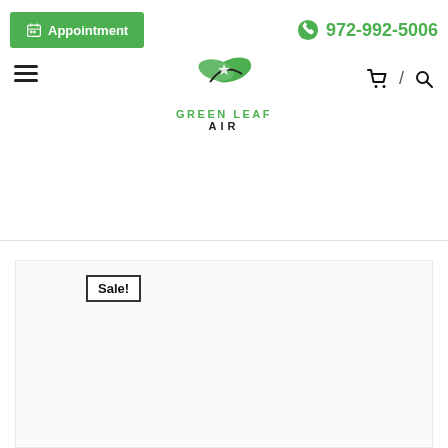Appointment | 972-992-5006
[Figure (logo): Green Leaf Air logo with two green leaves and text GREEN LEAF AIR]
Sale!